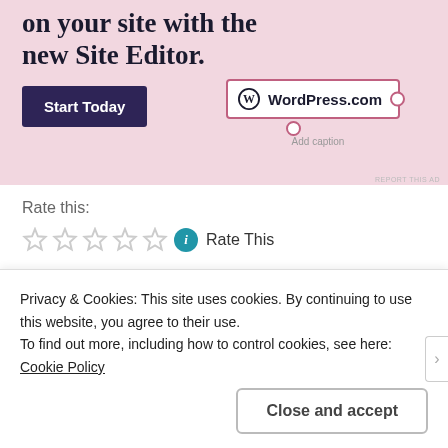[Figure (screenshot): WordPress.com advertisement banner with pink background showing 'on your site with the new Site Editor.' heading, a dark 'Start Today' button, and WordPress.com logo badge with 'Add caption' text.]
Rate this:
[Figure (other): Five empty star rating widgets followed by a teal info circle icon and 'Rate This' text.]
Privacy & Cookies: This site uses cookies. By continuing to use this website, you agree to their use.
To find out more, including how to control cookies, see here: Cookie Policy
Close and accept